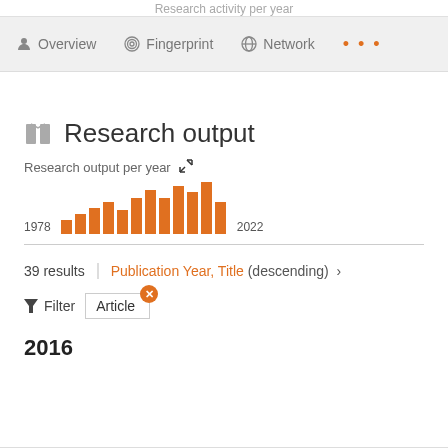Research activity per year
Overview | Fingerprint | Network | ...
Research output
Research output per year
[Figure (bar-chart): Research output per year]
39 results   Publication Year, Title (descending) ›
Filter   Article ✕
2016